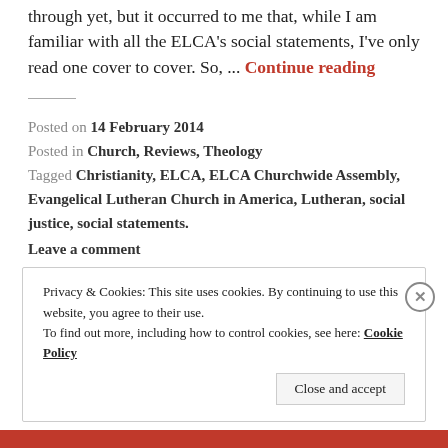through yet, but it occurred to me that, while I am familiar with all the ELCA's social statements, I've only read one cover to cover. So, ... Continue reading
Posted on 14 February 2014
Posted in Church, Reviews, Theology
Tagged Christianity, ELCA, ELCA Churchwide Assembly, Evangelical Lutheran Church in America, Lutheran, social justice, social statements.
Leave a comment
Privacy & Cookies: This site uses cookies. By continuing to use this website, you agree to their use. To find out more, including how to control cookies, see here: Cookie Policy
Close and accept